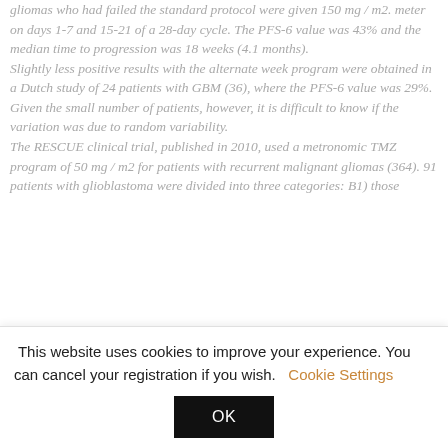gliomas who had failed the standard protocol were given 150 mg / m2. meter on days 1-7 and 15-21 of a 28-day cycle. The PFS-6 value was 43% and the median time to progression was 18 weeks (4.1 months). Slightly less positive results with the alternate week program were obtained in a Dutch study of 24 patients with GBM (36), where the PFS-6 value was 29%. Given the small number of patients, however, it is difficult to know if the variation was due to random variability. The RESCUE clinical trial, published in 2010, used a metronomic TMZ program of 50 mg / m2 for patients with recurrent malignant gliomas (364). 91 patients with glioblastoma were divided into three categories: B1) those
This website uses cookies to improve your experience. You can cancel your registration if you wish. Cookie Settings
OK